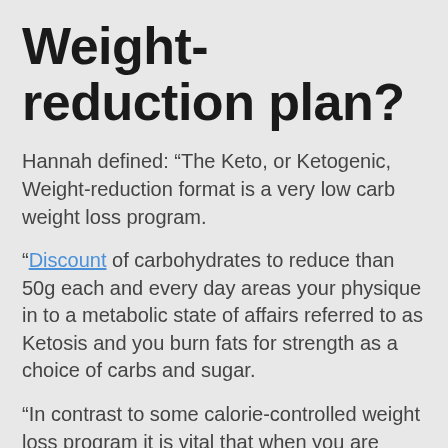Weight-reduction plan?
Hannah defined: “The Keto, or Ketogenic, Weight-reduction format is a very low carb weight loss program.
“Discount of carbohydrates to reduce than 50g each and every day areas your physique in to a metabolic state of affairs referred to as Ketosis and you burn fats for strength as a choice of carbs and sugar.
“In contrast to some calorie-controlled weight loss program it is vital that when you are getting into Ketosis you retain Ketogenic for at the very least